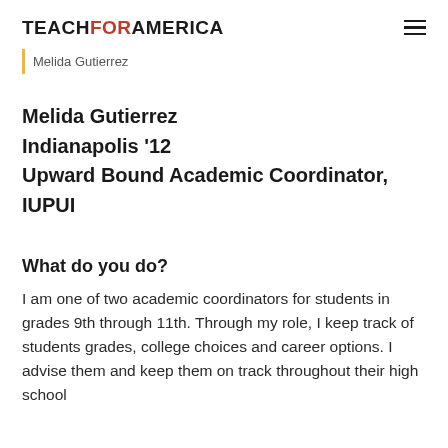TEACHFORAMERICA
Melida Gutierrez
Melida Gutierrez
Indianapolis '12
Upward Bound Academic Coordinator, IUPUI
What do you do?
I am one of two academic coordinators for students in grades 9th through 11th. Through my role, I keep track of students grades, college choices and career options. I advise them and keep them on track throughout their high school